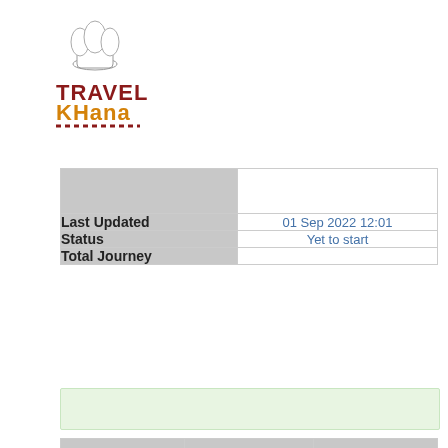[Figure (logo): Travel Khana logo with chef hat icon, TRAVEL in dark red and KHANA in orange, with decorative underline]
|  |  |
| Last Updated | 01 Sep 2022 12:01 |
| Status | Yet to start |
| Total Journey |  |